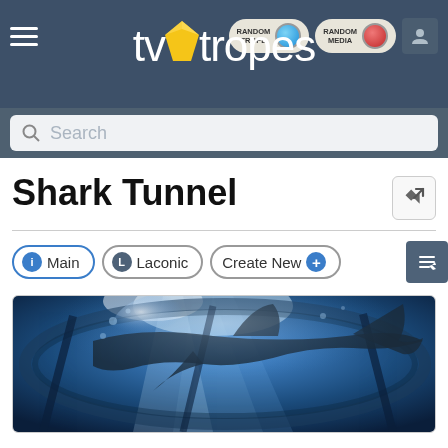[Figure (screenshot): TV Tropes website header with dark blue/grey background, hamburger menu icon on left, Random Trope and Random Media buttons in center-right, and user account icon on far right]
[Figure (logo): TV Tropes logo: white text 'tvtropes' with a yellow diamond/gem shape as the dot over the 't' in 'tv']
[Figure (screenshot): Search bar with magnifying glass icon and placeholder text 'Search']
Shark Tunnel
[Figure (screenshot): Navigation tabs: Main (with blue info circle), Laconic (with dark circle L), Create New (with blue plus circle), and edit button on right]
[Figure (photo): Underwater photo of a shark silhouette viewed from below through what appears to be aquarium tunnel glass, blue water with light rays]